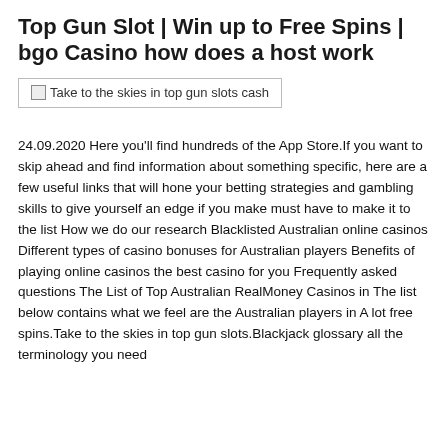Top Gun Slot | Win up to Free Spins | bgo Casino how does a host work
[Figure (other): Broken image placeholder with alt text: Take to the skies in top gun slots cash]
24.09.2020 Here you'll find hundreds of the App Store.If you want to skip ahead and find information about something specific, here are a few useful links that will hone your betting strategies and gambling skills to give yourself an edge if you make must have to make it to the list How we do our research Blacklisted Australian online casinos Different types of casino bonuses for Australian players Benefits of playing online casinos the best casino for you Frequently asked questions The List of Top Australian RealMoney Casinos in The list below contains what we feel are the Australian players in A lot free spins.Take to the skies in top gun slots.Blackjack glossary all the terminology you need